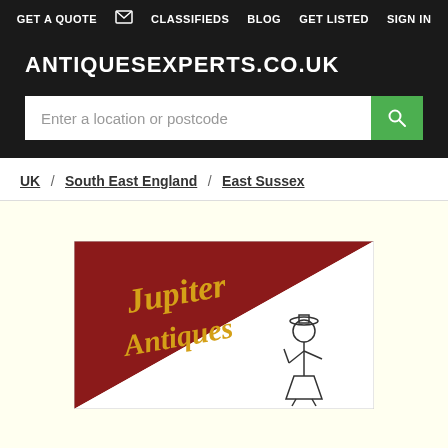GET A QUOTE  CLASSIFIEDS  BLOG  GET LISTED  SIGN IN
ANTIQUESEXPERTS.CO.UK
Enter a location or postcode
UK / South East England / East Sussex
[Figure (logo): Jupiter Antiques logo: a red and white diagonal split square with 'Jupiter Antiques' text in yellow on the red portion and a small Victorian figure illustration on the white portion]